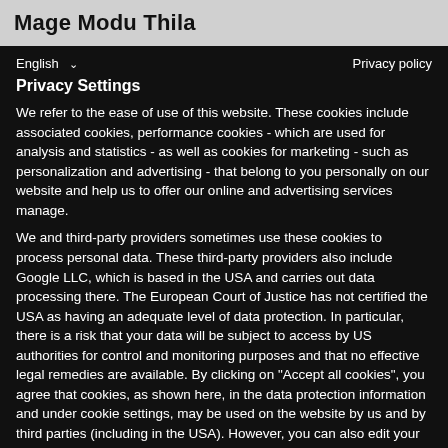Mage Modu Thila
English  ∨                                                    Privacy policy
Privacy Settings
We refer to the ease of use of this website. These cookies include associated cookies, performance cookies - which are used for analysis and statistics - as well as cookies for marketing - such as personalization and advertising - that belong to you personally on our website and help us to offer our online and advertising services manage.
We and third-party providers sometimes use these cookies to process personal data. These third-party providers also include Google LLC, which is based in the USA and carries out data processing there. The European Court of Justice has not certified the USA as having an adequate level of data protection. In particular, there is a risk that your data will be subject to access by US authorities for control and monitoring purposes and that no effective legal remedies are available. By clicking on "Accept all cookies", you agree that cookies, as shown here, in the data protection information and under cookie settings, may be used on the website by us and by third parties (including in the USA). However, you can also edit your cookie settings - individually for each purpose and each provider - and decide whether